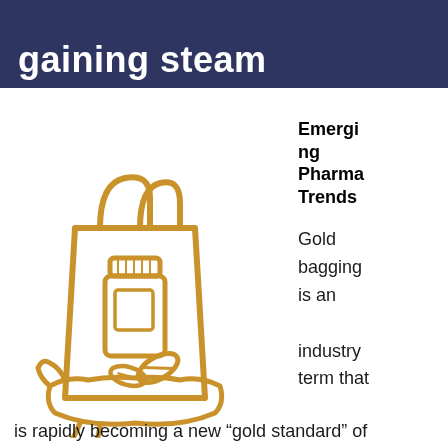gaining steam
[Figure (illustration): Gold line-art icon of a hand holding a shopping bag containing a medicine bottle and pills]
Emerging Pharma Trends
Gold bagging is an industry term that
is rapidly becoming a new “gold standard” of